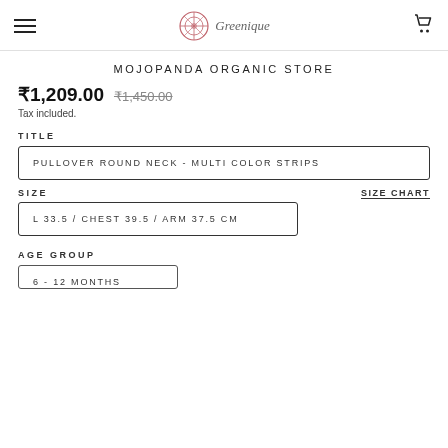Greenique (logo) — navigation and cart
MOJOPANDA ORGANIC STORE
₹1,209.00 ₹1,450.00
Tax included.
TITLE
PULLOVER ROUND NECK - MULTI COLOR STRIPS
SIZE
SIZE CHART
L 33.5 / CHEST 39.5 / ARM 37.5 CM
AGE GROUP
6 - 12 MONTHS